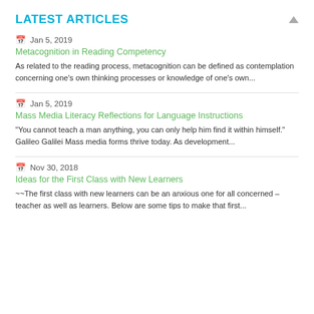LATEST ARTICLES
Jan 5, 2019
Metacognition in Reading Competency
As related to the reading process, metacognition can be defined as contemplation concerning one's own thinking processes or knowledge of one's own...
Jan 5, 2019
Mass Media Literacy Reflections for Language Instructions
"You cannot teach a man anything, you can only help him find it within himself." Galileo Galilei Mass media forms thrive today. As development...
Nov 30, 2018
Ideas for the First Class with New Learners
~~The first class with new learners can be an anxious one for all concerned – teacher as well as learners. Below are some tips to make that first...